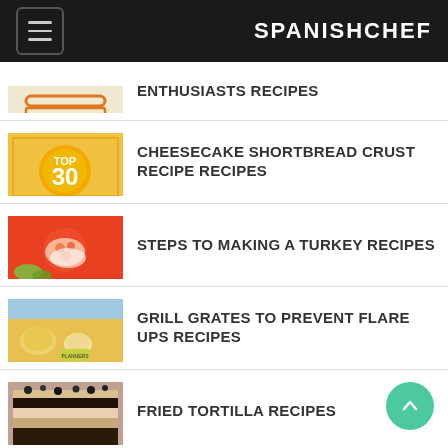SPANISHCHEF
ENTHUSIASTS RECIPES
CHEESECAKE SHORTBREAD CRUST RECIPE RECIPES
STEPS TO MAKING A TURKEY RECIPES
GRILL GRATES TO PREVENT FLARE UPS RECIPES
FRIED TORTILLA RECIPES
SERRATED BREAD KNIVES RECIPE